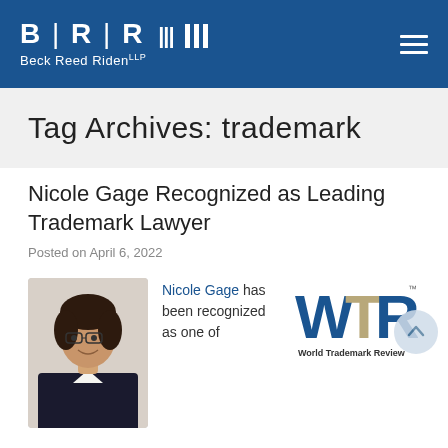[Figure (logo): Beck Reed Riden LLP law firm logo — BRR with pipe characters and triple bar mark, white text on dark blue background, with hamburger menu icon on the right]
Tag Archives: trademark
Nicole Gage Recognized as Leading Trademark Lawyer
Posted on April 6, 2022
[Figure (photo): Professional headshot of Nicole Gage, a woman with dark hair and glasses, wearing a dark blazer]
Nicole Gage has been recognized as one of
[Figure (logo): World Trademark Review (WTR) logo — WTR letters in blue and gold/tan with 'World Trademark Review' text below]